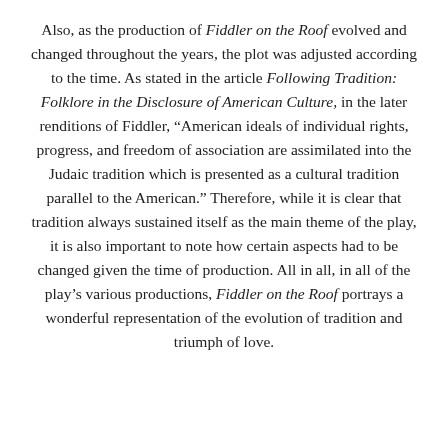Also, as the production of Fiddler on the Roof evolved and changed throughout the years, the plot was adjusted according to the time. As stated in the article Following Tradition: Folklore in the Disclosure of American Culture, in the later renditions of Fiddler, “American ideals of individual rights, progress, and freedom of association are assimilated into the Judaic tradition which is presented as a cultural tradition parallel to the American.” Therefore, while it is clear that tradition always sustained itself as the main theme of the play, it is also important to note how certain aspects had to be changed given the time of production. All in all, in all of the play’s various productions, Fiddler on the Roof portrays a wonderful representation of the evolution of tradition and triumph of love.